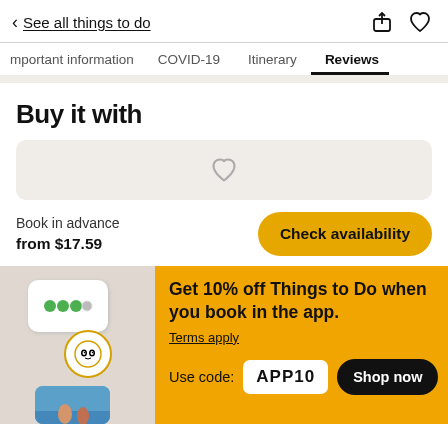< See all things to do
Important information | COVID-19 | Itinerary | Reviews
Buy it with
Book in advance
from $17.59
Check availability
Get 10% off Things to Do when you book in the app.
Terms apply
Use code: APP10
Shop now